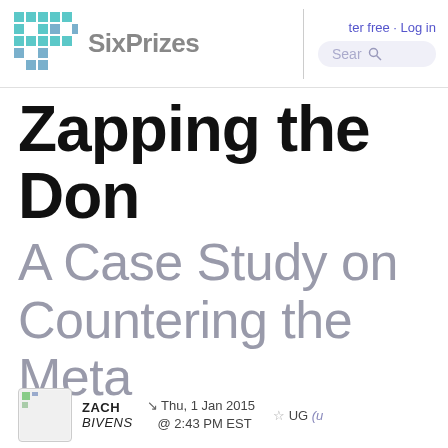SixPrizes · Register free · Log in · Search
Zapping the Don
A Case Study on Countering the Meta
ZACH BIVENS · Thu, 1 Jan 2015 @ 2:43 PM EST · ☆ UG (un...)